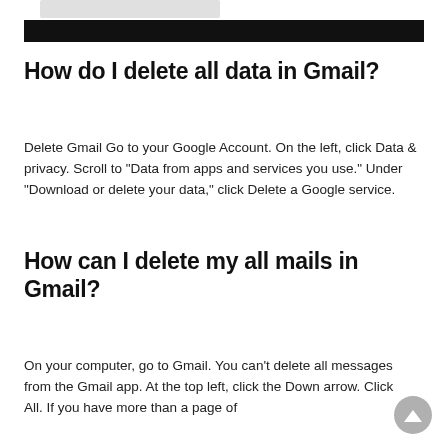[Figure (screenshot): Partial website header with navigation bar, black horizontal banner]
How do I delete all data in Gmail?
Delete Gmail Go to your Google Account. On the left, click Data & privacy. Scroll to "Data from apps and services you use." Under "Download or delete your data," click Delete a Google service.
How can I delete my all mails in Gmail?
On your computer, go to Gmail. You can't delete all messages from the Gmail app. At the top left, click the Down arrow. Click All. If you have more than a page of